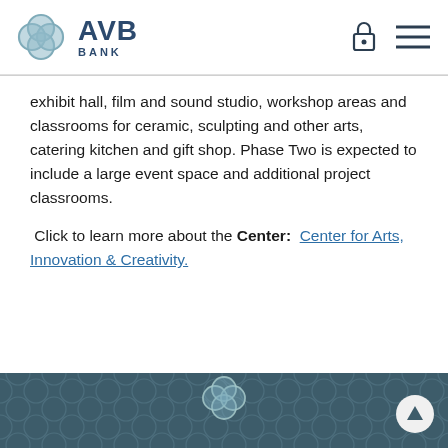[Figure (logo): AVB Bank logo with flower/quatrefoil symbol in blue-grey and bold AVB BANK text]
exhibit hall, film and sound studio, workshop areas and classrooms for ceramic, sculpting and other arts, catering kitchen and gift shop. Phase Two is expected to include a large event space and additional project classrooms.
Click to learn more about the Center: Center for Arts, Innovation & Creativity.
[Figure (illustration): AVB Bank footer with teal/dark background featuring quatrefoil tile pattern and centered flower logo, with scroll-to-top arrow button]